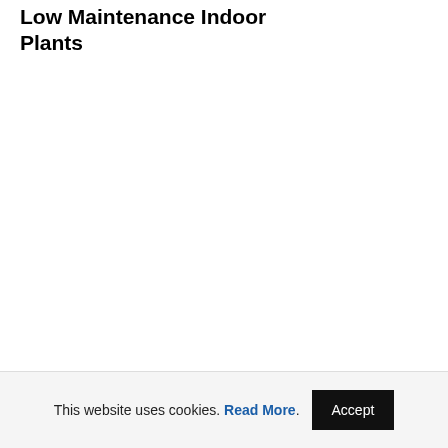Low Maintenance Indoor Plants
This website uses cookies. Read More. Accept